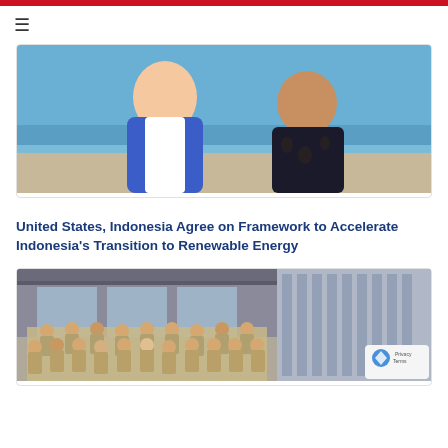[Figure (photo): Two men smiling outdoors near a beach — one wearing a blue blazer (Western official) and one wearing a dark batik shirt (Indonesian official)]
United States, Indonesia Agree on Framework to Accelerate Indonesia’s Transition to Renewable Energy
[Figure (photo): Group photo of approximately 30 people in matching khaki/beige uniforms standing in front of a modern building, with a reCAPTCHA badge visible in the bottom right corner]